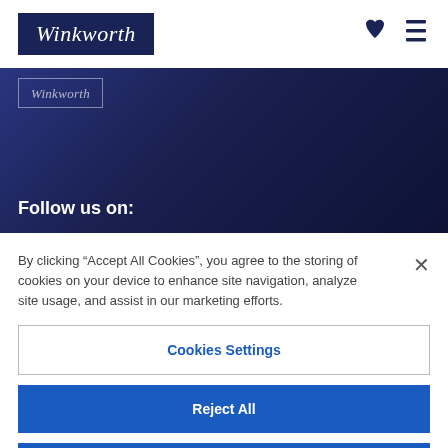[Figure (logo): Winkworth logo — white italic text on dark navy blue background rectangle]
[Figure (illustration): Dark navy blue filled heart icon and dark navy blue three-line hamburger menu icon in the top-right navigation area]
[Figure (logo): Winkworth logo small watermark — faint white italic text inside a border rectangle on dark blue hero background]
Follow us on:
By clicking “Accept All Cookies”, you agree to the storing of cookies on your device to enhance site navigation, analyze site usage, and assist in our marketing efforts.
Cookies Settings
Reject All
Accept All Cookies